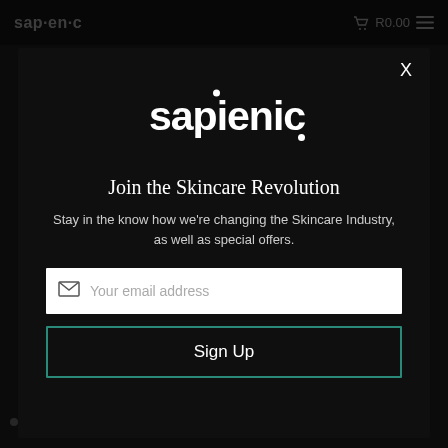sapienic  R0.00
[Figure (logo): Sapienic logo in white text on black background, inside modal popup]
Join the Skincare Revolution
Stay in the know how we're changing the Skincare Industry, as well as special offers.
[Figure (screenshot): Email input field with envelope icon and placeholder text 'Your email address']
Sign Up